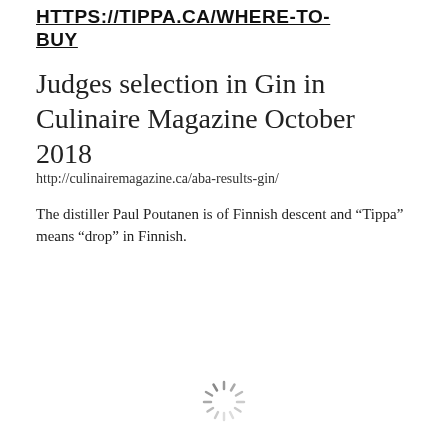HTTPS://TIPPA.CA/WHERE-TO-BUY
Judges selection in Gin in Culinaire Magazine October 2018
http://culinairemagazine.ca/aba-results-gin/
The distiller Paul Poutanen is of Finnish descent and “Tippa” means “drop” in Finnish.
[Figure (other): Loading spinner icon at bottom center of page]